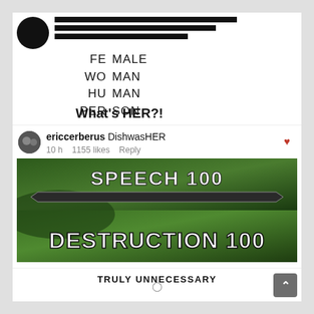[Figure (screenshot): Social media post screenshot showing a wordplay grid splitting words into 'fe/male', 'wo/man', 'hu/man', 'per/son' with caption 'What's HER?!' and a comment by ericcerberus saying 'DishwasHER', with 1155 likes, 10 hours ago. Below is a Skyrim-style game UI showing 'SPEECH 100' and 'DESTRUCTION 100' stats.]
TRULY UNNECESSARY